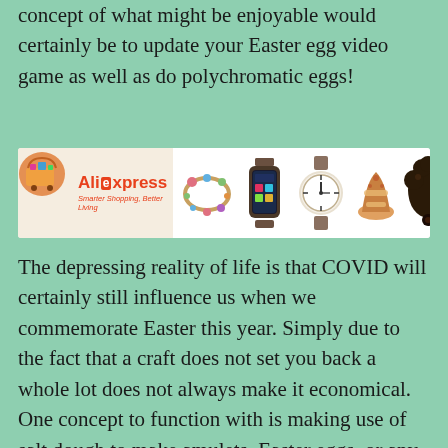concept of what might be enjoyable would certainly be to update your Easter egg video game as well as do polychromatic eggs!
[Figure (screenshot): AliExpress advertisement banner showing logo on left with shopping cart, and product images on right including bracelet, smartwatch, watch, sandals, hair extensions, and yellow handbag]
The depressing reality of life is that COVID will certainly still influence us when we commemorate Easter this year. Simply due to the fact that a craft does not set you back a whole lot does not always make it economical. One concept to function with is making use of salt dough to make amulets, Easter eggs, or any type of various other kind of thing. A last concept of what might be enjoyable would certainly be to update your Easter egg video game as well as do multicolor eggs! No matter of what